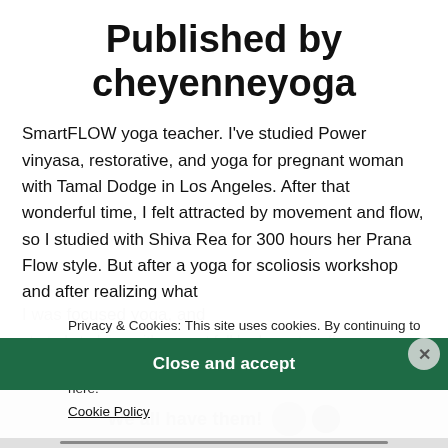Published by cheyenneyoga
SmartFLOW yoga teacher. I've studied Power vinyasa, restorative, and yoga for pregnant woman with Tamal Dodge in Los Angeles. After that wonderful time, I felt attracted by movement and flow, so I studied with Shiva Rea for 300 hours her Prana Flow style. But after a yoga for scoliosis workshop and after realizing what...
Privacy & Cookies: This site uses cookies. By continuing to use this website, you agree to their use.
To find out more, including how to control cookies, see here: Cookie Policy
Close and accept